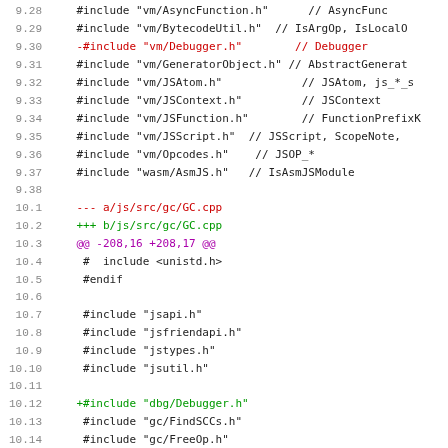Code diff showing include changes across two files: frontend bytecode/vm includes and gc/GC.cpp includes, with added Debugger.h references.